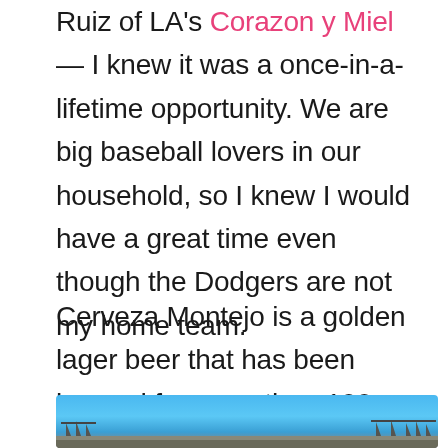Ruiz of LA's Corazon y Miel — I knew it was a once-in-a-lifetime opportunity. We are big baseball lovers in our household, so I knew I would have a great time even though the Dodgers are not my home team.
Cerveza Montejo is a golden lager beer that has been brewed for more than 100 years in Mexico.
[Figure (photo): Partial photo of a baseball stadium (likely Dodger Stadium) showing stadium lights and seating under a blue sky]